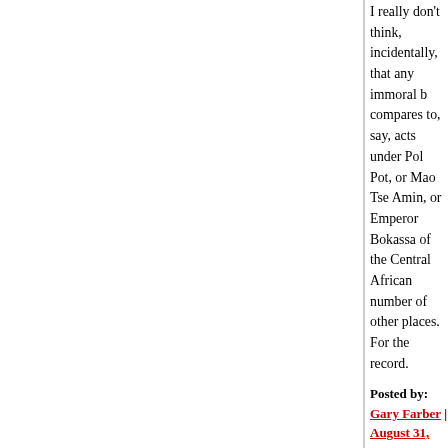I really don't think, incidentally, that any immoral b... compares to, say, acts under Pol Pot, or Mao Tse... Amin, or Emperor Bokassa of the Central African... number of other places. For the record.
Posted by: Gary Farber | August 31, 2005 at 12:23 AM
lj: that's really interesting. -- I have also always be... understand what makes people do really horrible... published was on a line of thought prompted by S... on obedience, and that's no accident. At all.) I sus... that isn't just morbid curiosity has to do with know... (Jews) who had fled Germany ahead of the Nazis... them without getting the sense that the Nazis wer... imaginable, and also, somehow, their compatriots... that not just people with horns but (for instance) th... who had always seemed to be OK before, had tu... that Germany was full of real people who had rea... things imaginable, or to sit by and watch those thi... very important to me to understand how that coul... avoid becoming such a person myself.
Posted by: hilzoy | August 31, 2005 at 12:23 AM